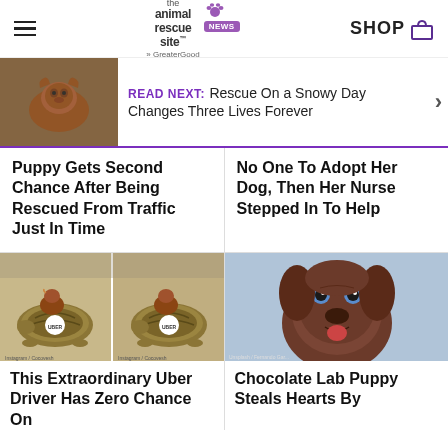the animal rescue site — NEWS | SHOP
READ NEXT: Rescue On a Snowy Day Changes Three Lives Forever
Puppy Gets Second Chance After Being Rescued From Traffic Just In Time
No One To Adopt Her Dog, Then Her Nurse Stepped In To Help
[Figure (photo): Two side-by-side photos of a tortoise with a chicken riding on its back, each tortoise has an Uber sticker on its shell]
This Extraordinary Uber Driver Has Zero Chance On
[Figure (photo): Close-up photo of a chocolate Labrador Retriever puppy with blue eyes looking at the camera]
Chocolate Lab Puppy Steals Hearts By